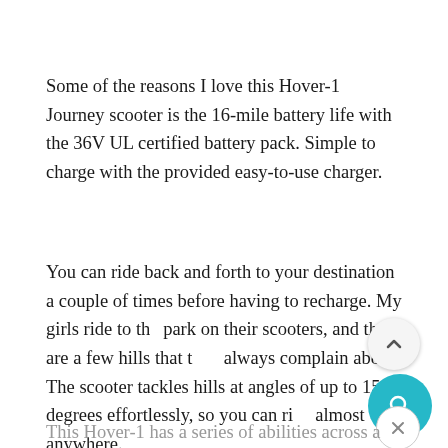Some of the reasons I love this Hover-1 Journey scooter is the 16-mile battery life with the 36V UL certified battery pack. Simple to charge with the provided easy-to-use charger.
You can ride back and forth to your destination a couple of times before having to recharge. My girls ride to the park on their scooters, and there are a few hills that they always complain about. The scooter tackles hills at angles of up to 15 degrees effortlessly, so you can ride almost anywhere.
This Hover-1 has a series of abilities across a 8.5-inch...